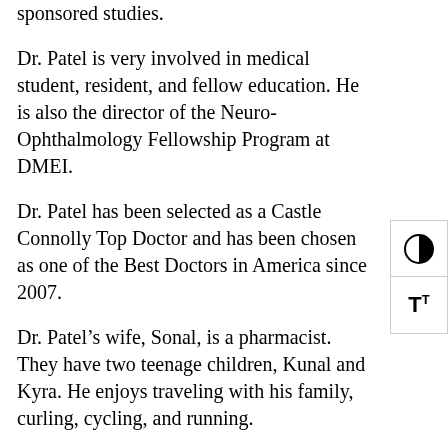sponsored studies.
Dr. Patel is very involved in medical student, resident, and fellow education. He is also the director of the Neuro-Ophthalmology Fellowship Program at DMEI.
Dr. Patel has been selected as a Castle Connolly Top Doctor and has been chosen as one of the Best Doctors in America since 2007.
Dr. Patel’s wife, Sonal, is a pharmacist. They have two teenage children, Kunal and Kyra. He enjoys traveling with his family, curling, cycling, and running.